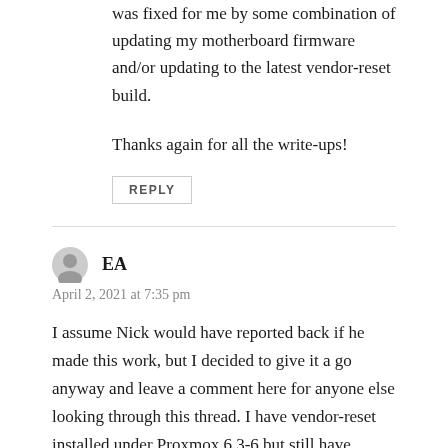was fixed for me by some combination of updating my motherboard firmware and/or updating to the latest vendor-reset build.
Thanks again for all the write-ups!
REPLY
EA
April 2, 2021 at 7:35 pm
I assume Nick would have reported back if he made this work, but I decided to give it a go anyway and leave a comment here for anyone else looking through this thread. I have vendor-reset installed under Proxmox 6.3-6 but still have problems with my 8GB Sapphire RX 580 (SKU 11265-05-20G)